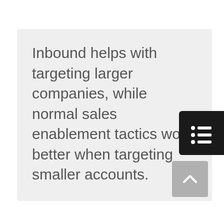Inbound helps with targeting larger companies, while normal sales enablement tactics work better when targeting smaller accounts.
[Figure (other): Dark rounded rectangle button with a list/bullet-list icon (three horizontal lines with dots) in white]
[Figure (other): Grey square scroll-to-top button with an upward-pointing chevron/caret arrow]